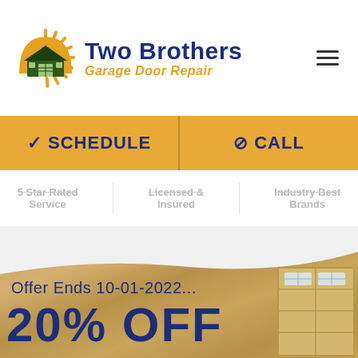[Figure (logo): Two Brothers Garage Door Repair logo with house icon and sunburst, dark blue text with orange subtitle]
SCHEDULE
CALL
5 Star Rated Service
Licensed & Insured
Industry Best Brands
Offer Ends 10-01-2022...
20% OFF